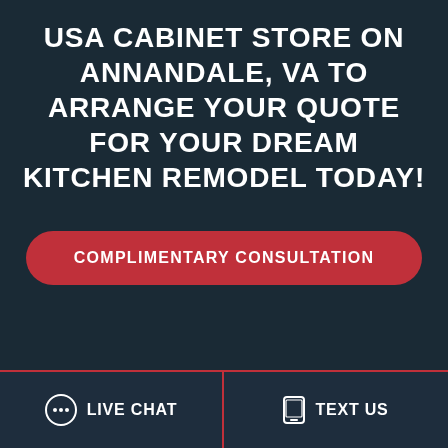USA CABINET STORE ON ANNANDALE, VA TO ARRANGE YOUR QUOTE FOR YOUR DREAM KITCHEN REMODEL TODAY!
COMPLIMENTARY CONSULTATION
LIVE CHAT
TEXT US